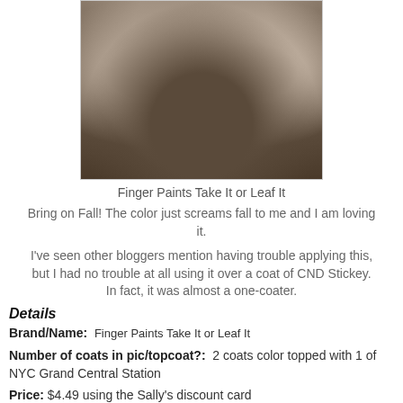[Figure (photo): Close-up photo of nails painted with a dark bronze/gunmetal shimmer nail polish, holding a nail polish bottle]
Finger Paints Take It or Leaf It
Bring on Fall! The color just screams fall to me and I am loving it.
I've seen other bloggers mention having trouble applying this, but I had no trouble at all using it over a coat of CND Stickey. In fact, it was almost a one-coater.
Details
Brand/Name:  Finger Paints Take It or Leaf It
Number of coats in pic/topcoat?:  2 coats color topped with 1 of NYC Grand Central Station
Price: $4.49 using the Sally's discount card